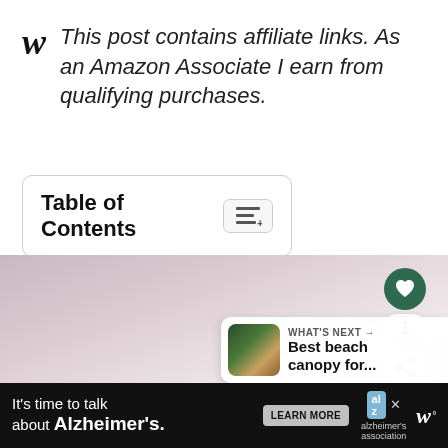This post contains affiliate links. As an Amazon Associate I earn from qualifying purchases.
Table of Contents
[Figure (photo): Hazy sky photograph with soft pink and purple tones, showing a blurred outdoor scene]
WHAT'S NEXT → Best beach canopy for...
[Figure (infographic): Advertisement bar: It's time to talk about Alzheimer's. LEARN MORE. Alzheimer's association logo.]